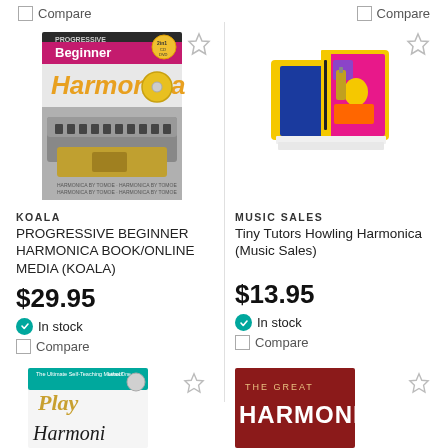Compare
Compare
[Figure (photo): Book cover: Progressive Beginner Harmonica book with harmonica instrument image and DVD/CD icons]
KOALA
PROGRESSIVE BEGINNER HARMONICA BOOK/ONLINE MEDIA (KOALA)
$29.95
In stock
Compare
[Figure (photo): Tiny Tutors Howling Harmonica product box - yellow and blue children's book/kit with harmonica]
MUSIC SALES
Tiny Tutors Howling Harmonica (Music Sales)
$13.95
In stock
Compare
[Figure (photo): Play Harmonica book cover - teal/green header 'The Ultimate Self-Teaching Method! Level One', partially visible at bottom]
[Figure (photo): The Great Harmonica book cover - dark red/maroon background, partially visible at bottom]